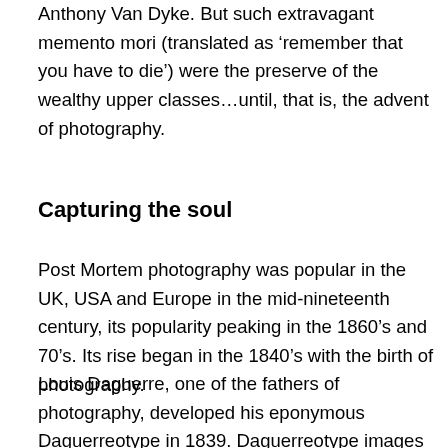Anthony Van Dyke. But such extravagant memento mori (translated as 'remember that you have to die') were the preserve of the wealthy upper classes…until, that is, the advent of photography.
Capturing the soul
Post Mortem photography was popular in the UK, USA and Europe in the mid-nineteenth century, its popularity peaking in the 1860's and 70's. Its rise began in the 1840's with the birth of photography.
Louis Daguerre, one of the fathers of photography, developed his eponymous Daguerreotype in 1839. Daguerreotype images were produced on treated silver-plated copper sheets, protected by glass.  The images are strange to look at and change from positive to negative,